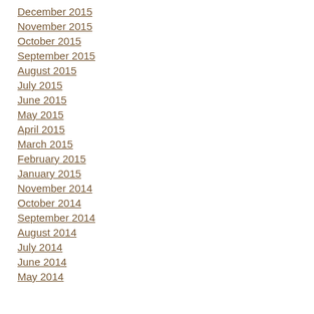December 2015
November 2015
October 2015
September 2015
August 2015
July 2015
June 2015
May 2015
April 2015
March 2015
February 2015
January 2015
November 2014
October 2014
September 2014
August 2014
July 2014
June 2014
May 2014